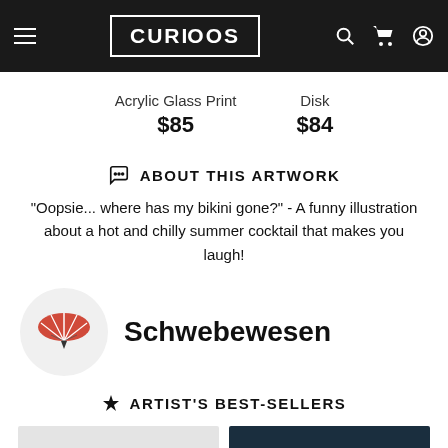CURIOS
Acrylic Glass Print $85
Disk $84
ABOUT THIS ARTWORK
"Oopsie... where has my bikini gone?" - A funny illustration about a hot and chilly summer cocktail that makes you laugh!
Schwebewesen
ARTIST'S BEST-SELLERS
[Figure (illustration): Two product thumbnail images at the bottom of the page]